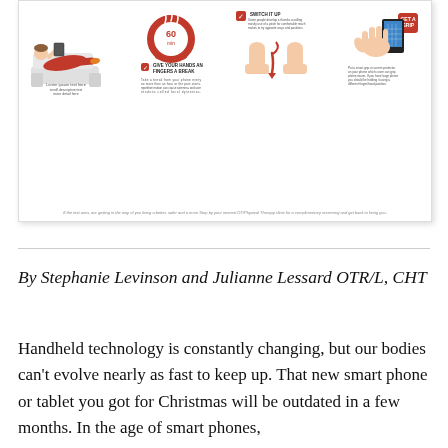[Figure (infographic): Health infographic showing tips for smartphone/tablet use: person lounging on couch, 60-minute timer, 'Give Your Hands and Fingers a Break' with thumbs switching, and 'Get a Grip' with hand holding phone. Red and white color scheme with checkmark badges.]
By Stephanie Levinson and Julianne Lessard OTR/L, CHT
Handheld technology is constantly changing, but our bodies can't evolve nearly as fast to keep up. That new smart phone or tablet you got for Christmas will be outdated in a few months. In the age of smart phones,